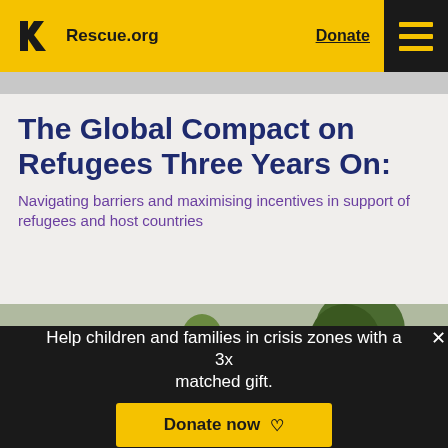Rescue.org  Donate
The Global Compact on Refugees Three Years On:
Navigating barriers and maximising incentives in support of refugees and host countries
[Figure (photo): A person in a yellow t-shirt standing in a village with thatched huts and a brick building with corrugated metal roof, trees in background]
Help children and families in crisis zones with a 3x matched gift.
Donate now